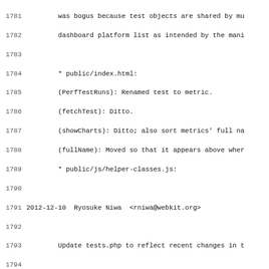Source code changelog / commit log entries, lines 1781-1812+
1781: was bogus because test objects are shared by m...
1782: dashboard platform list as intended by the mani...
1783: (blank)
1784: * public/index.html:
1785: (PerfTestRuns): Renamed test to metric.
1786: (fetchTest): Ditto.
1787: (showCharts): Ditto; also sort metrics' full na...
1788: (fullName): Moved so that it appears above wher...
1789: * public/js/helper-classes.js:
1790: (blank)
1791: 2012-12-10  Ryosuke Niwa  <rniwa@webkit.org>
1792: (blank)
1793: Update tests.php to reflect recent changes in t...
1794: (blank)
1795: Reviewed by Conrad Shultz.
1796: (blank)
1797: Made the following changes to tests.php:
1798: 1. Disallow adding metrics to tests without sub...
1799: 2. Made dashboard configurable by adding checkb...
1800: 3. Linkified tests with subtests instead of sho...
1801: (blank)
1802: * public/admin/admin.css:
1803: (.action-field, .notice):
1804: (label):
1805: * public/admin/header.php: Specify paths by abs...
1806: (execute_query_and_expect_one_row_to_be_affecte...
1807: (add_job): Extracted.
1808: * public/admin/tests.php: See above.
1809: (array_item_set_default): Added.
1810: (array_item_or_default): Renamed from get_value...
1811: (compute_full_name): Extracted.
1812: (sort_tests): Ditto.